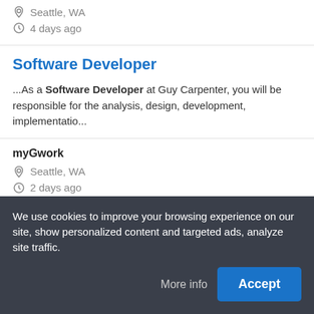Seattle, WA
4 days ago
Software Developer
...As a Software Developer at Guy Carpenter, you will be responsible for the analysis, design, development, implementatio...
myGwork
Seattle, WA
2 days ago
Software Developer III
We use cookies to improve your browsing experience on our site, show personalized content and targeted ads, analyze site traffic.
More info
Accept